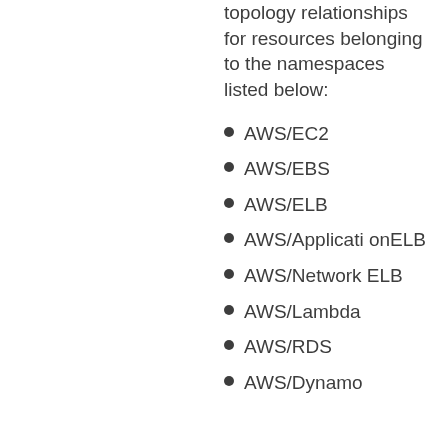topology relationships for resources belonging to the namespaces listed below:
AWS/EC2
AWS/EBS
AWS/ELB
AWS/ApplicationELB
AWS/NetworkELB
AWS/Lambda
AWS/RDS
AWS/Dynamo